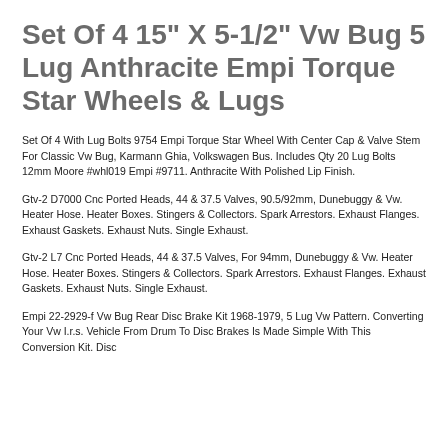Set Of 4 15" X 5-1/2" Vw Bug 5 Lug Anthracite Empi Torque Star Wheels & Lugs
Set Of 4 With Lug Bolts 9754 Empi Torque Star Wheel With Center Cap & Valve Stem For Classic Vw Bug, Karmann Ghia, Volkswagen Bus. Includes Qty 20 Lug Bolts 12mm Moore #whl019 Empi #9711. Anthracite With Polished Lip Finish.
Gtv-2 D7000 Cnc Ported Heads, 44 & 37.5 Valves, 90.5/92mm, Dunebuggy & Vw. Heater Hose. Heater Boxes. Stingers & Collectors. Spark Arrestors. Exhaust Flanges. Exhaust Gaskets. Exhaust Nuts. Single Exhaust.
Gtv-2 L7 Cnc Ported Heads, 44 & 37.5 Valves, For 94mm, Dunebuggy & Vw. Heater Hose. Heater Boxes. Stingers & Collectors. Spark Arrestors. Exhaust Flanges. Exhaust Gaskets. Exhaust Nuts. Single Exhaust.
Empi 22-2929-f Vw Bug Rear Disc Brake Kit 1968-1979, 5 Lug Vw Pattern. Converting Your Vw I.r.s. Vehicle From Drum To Disc Brakes Is Made Simple With This Conversion Kit. Disc…